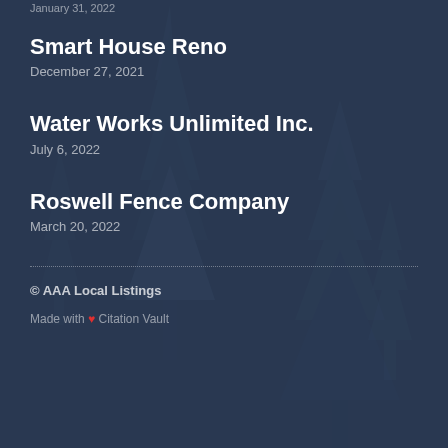January 31, 2022
Smart House Reno
December 27, 2021
Water Works Unlimited Inc.
July 6, 2022
Roswell Fence Company
March 20, 2022
© AAA Local Listings
Made with ❤ Citation Vault